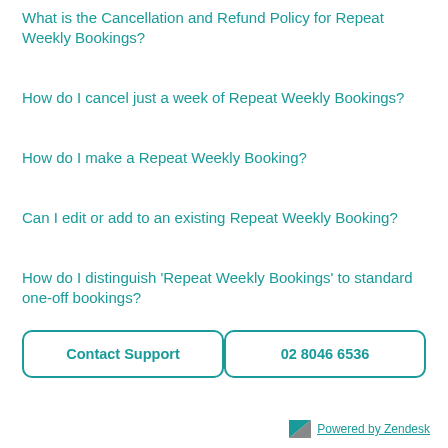What is the Cancellation and Refund Policy for Repeat Weekly Bookings?
How do I cancel just a week of Repeat Weekly Bookings?
How do I make a Repeat Weekly Booking?
Can I edit or add to an existing Repeat Weekly Booking?
How do I distinguish 'Repeat Weekly Bookings' to standard one-off bookings?
Contact Support
02 8046 6536
Powered by Zendesk